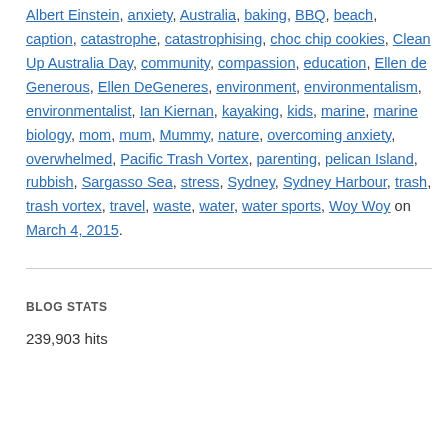Albert Einstein, anxiety, Australia, baking, BBQ, beach, caption, catastrophe, catastrophising, choc chip cookies, Clean Up Australia Day, community, compassion, education, Ellen de Generous, Ellen DeGeneres, environment, environmentalism, environmentalist, Ian Kiernan, kayaking, kids, marine, marine biology, mom, mum, Mummy, nature, overcoming anxiety, overwhelmed, Pacific Trash Vortex, parenting, pelican Island, rubbish, Sargasso Sea, stress, Sydney, Sydney Harbour, trash, trash vortex, travel, waste, water, water sports, Woy Woy on March 4, 2015.
BLOG STATS
239,903 hits